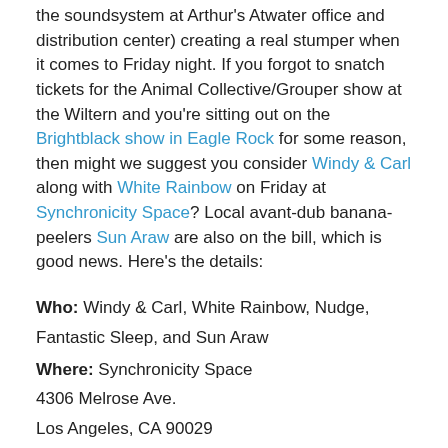the soundsystem at Arthur's Atwater office and distribution center) creating a real stumper when it comes to Friday night. If you forgot to snatch tickets for the Animal Collective/Grouper show at the Wiltern and you're sitting out on the Brightblack show in Eagle Rock for some reason, then might we suggest you consider Windy & Carl along with White Rainbow on Friday at Synchronicity Space? Local avant-dub banana-peelers Sun Araw are also on the bill, which is good news. Here's the details:
Who: Windy & Carl, White Rainbow, Nudge, Fantastic Sleep, and Sun Araw
Where: Synchronicity Space
4306 Melrose Ave.
Los Angeles, CA 90029
When: Friday May 29, 8pm to 12am
How much: $5